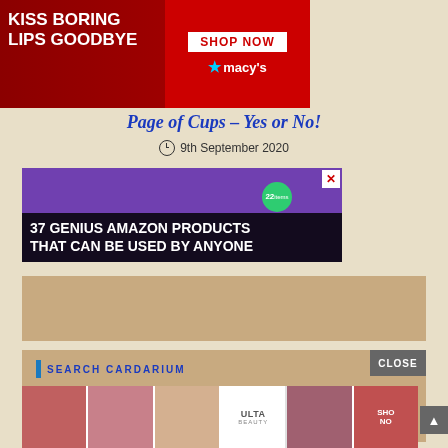[Figure (photo): Macy's advertisement banner: red background with woman's face, text 'KISS BORING LIPS GOODBYE', 'SHOP NOW' button and Macy's star logo]
Page of Cups – Yes or No!
9th September 2020
[Figure (photo): Amazon advertisement: Purple headphones on wood background with '37 GENIUS AMAZON PRODUCTS THAT CAN BE USED BY ANYONE' overlay text and green badge showing '22']
[Figure (other): Tan/beige content placeholder block]
SEARCH CARDARIUM
[Figure (photo): Bottom advertisement strip showing beauty products: lipstick, makeup brush, eye, Ulta Beauty logo, eye makeup, and Shop Now text]